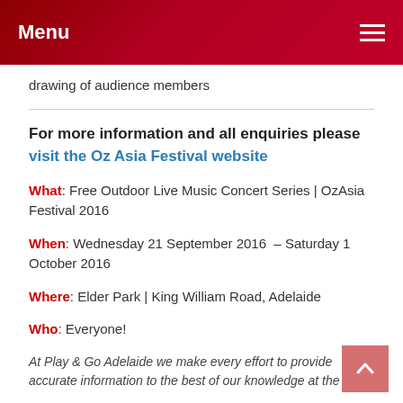Menu
drawing of audience members
For more information and all enquiries please visit the Oz Asia Festival website
What: Free Outdoor Live Music Concert Series | OzAsia Festival 2016
When: Wednesday 21 September 2016  – Saturday 1 October 2016
Where: Elder Park | King William Road, Adelaide
Who: Everyone!
At Play & Go Adelaide we make every effort to provide accurate information to the best of our knowledge at the